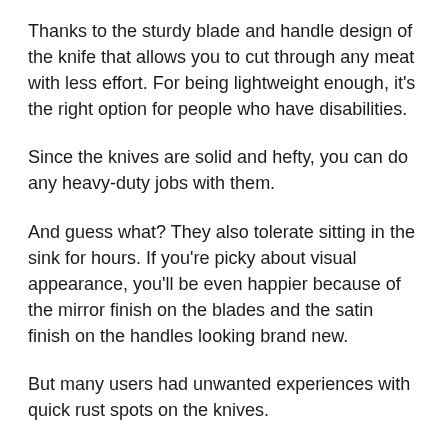Thanks to the sturdy blade and handle design of the knife that allows you to cut through any meat with less effort. For being lightweight enough, it's the right option for people who have disabilities.
Since the knives are solid and hefty, you can do any heavy-duty jobs with them.
And guess what? They also tolerate sitting in the sink for hours. If you're picky about visual appearance, you'll be even happier because of the mirror finish on the blades and the satin finish on the handles looking brand new.
But many users had unwanted experiences with quick rust spots on the knives.
And, cleaning these knives with a dishwasher isn't as easy as